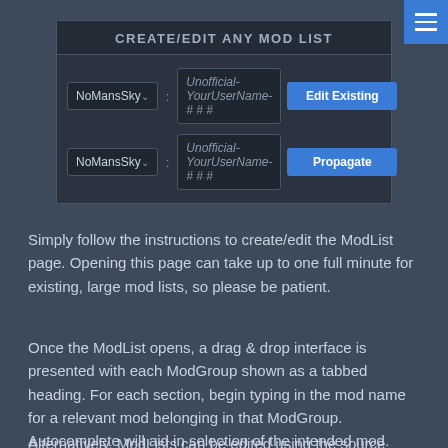[Figure (screenshot): A UI panel titled 'CREATE/EDIT ANY MOD LIST' with two rows each containing a 'NoMansSky' dropdown, a colon separator, a text input field labeled 'Unofficial-YourUserName-# # #', and a blue action button. Row 1 button: 'Edit Existing'. Row 2 button: 'Propagate'.]
Simply follow the instructions to create/edit the ModList page. Opening this page can take up to one full minute for existing, large mod lists, so please be patient.
Once the ModList opens, a drag & drop interface is presented with each ModGroup shown as a tabbed heading. For each section, begin typing in the mod name for a relevant mod belonging in that ModGroup. Autocomplete will aid in selection of the intended mod. Select the mod and click [Add] to add it. Repeat to add other mods into the ModGroup. Once added, mods can be reordered using drag & drop.
Alternatively, ModLists can be edited using the source